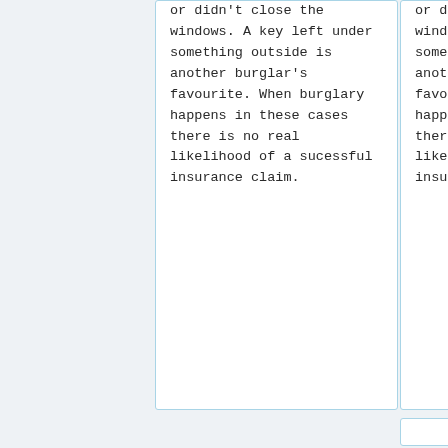or didn't close the windows. A key left under something outside is another burglar's favourite. When burglary happens in these cases there is no real likelihood of a sucessful insurance claim.
or didn't close the windows. A key left under something outside is another burglar's favourite. When burglary happens in these cases there is no real likelihood of a sucessful insurance claim.